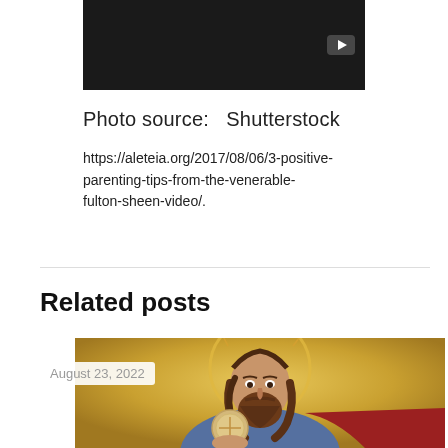[Figure (screenshot): Video thumbnail with dark/black background and a YouTube-style play button in the lower right corner]
Photo source:   Shutterstock
https://aleteia.org/2017/08/06/3-positive-parenting-tips-from-the-venerable-fulton-sheen-video/.
Related posts
August 23, 2022
[Figure (photo): Religious painting of Jesus Christ holding a communion host/circular object, with a halo, long brown hair and beard, wearing blue and red robes, gold Byzantine-style background]